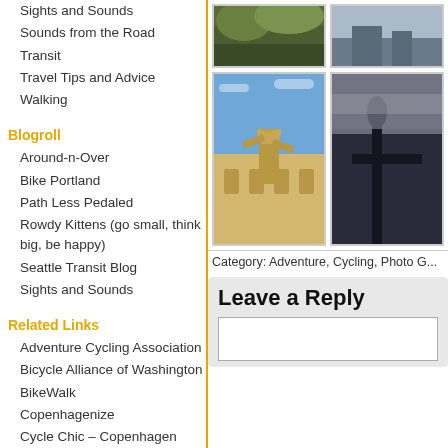Sights and Sounds
Sounds from the Road
Transit
Travel Tips and Advice
Walking
Blogroll
Around-n-Over
Bike Portland
Path Less Pedaled
Rowdy Kittens (go small, think big, be happy)
Seattle Transit Blog
Sights and Sounds
Related Links
Adventure Cycling Association
Bicycle Alliance of Washington
BikeWalk
Copenhagenize
Cycle Chic – Copenhagen
Momentum Magazine
[Figure (photo): Top-left photo: green foliage/nature]
[Figure (photo): Top-right photo: gray/overcast scene]
[Figure (photo): Bottom-left photo: classical statue holding globe, blue sky]
[Figure (photo): Bottom-right photo: dark silhouette scene with cloudy sky]
Category: Adventure, Cycling, Photo G...
Leave a Reply